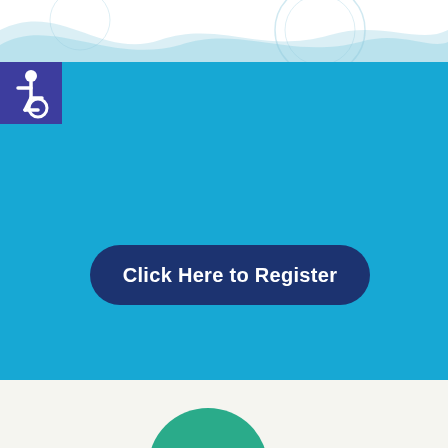[Figure (illustration): Top decorative wave graphic in light blue/teal tones on white background, with faint circular pattern watermark]
[Figure (logo): Purple/indigo square box containing white wheelchair accessibility icon (ISA symbol)]
[Figure (infographic): Large solid cyan/sky-blue rectangular section serving as background panel]
Click Here to Register
[Figure (illustration): Teal/green circle partially visible at bottom of page]